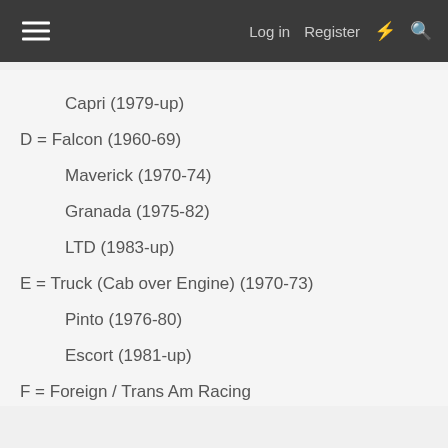Log in  Register
Capri (1979-up)
D = Falcon (1960-69)
Maverick (1970-74)
Granada (1975-82)
LTD (1983-up)
E = Truck (Cab over Engine) (1970-73)
Pinto (1976-80)
Escort (1981-up)
F = Foreign / Trans Am Racing